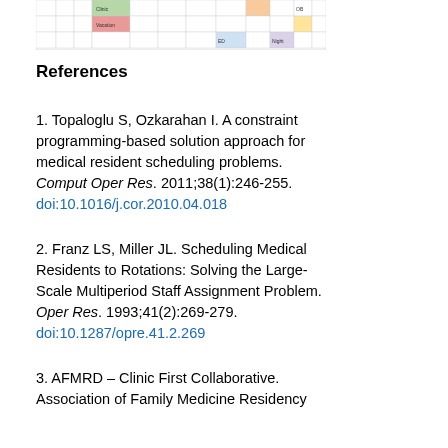[Figure (table-as-image): Partial view of a colored scheduling table with rows and columns showing medical resident schedule data.]
References
1. Topaloglu S, Ozkarahan I. A constraint programming-based solution approach for medical resident scheduling problems. Comput Oper Res. 2011;38(1):246-255. doi:10.1016/j.cor.2010.04.018
2. Franz LS, Miller JL. Scheduling Medical Residents to Rotations: Solving the Large-Scale Multiperiod Staff Assignment Problem. Oper Res. 1993;41(2):269-279. doi:10.1287/opre.41.2.269
3. AFMRD – Clinic First Collaborative. Association of Family Medicine Residency